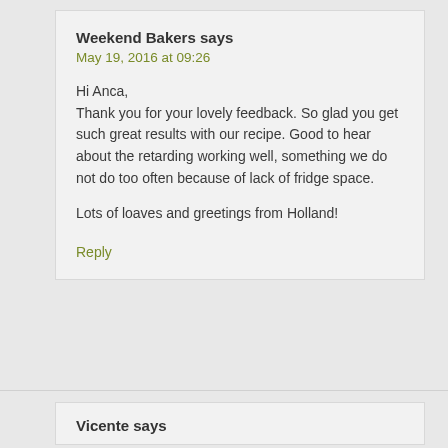Weekend Bakers says
May 19, 2016 at 09:26
Hi Anca,
Thank you for your lovely feedback. So glad you get such great results with our recipe. Good to hear about the retarding working well, something we do not do too often because of lack of fridge space.
Lots of loaves and greetings from Holland!
Reply
Vicente says